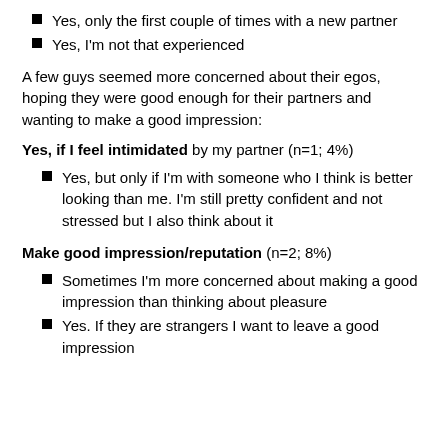Yes, only the first couple of times with a new partner
Yes, I'm not that experienced
A few guys seemed more concerned about their egos, hoping they were good enough for their partners and wanting to make a good impression:
Yes, if I feel intimidated by my partner (n=1; 4%)
Yes, but only if I'm with someone who I think is better looking than me. I'm still pretty confident and not stressed but I also think about it
Make good impression/reputation  (n=2;  8%)
Sometimes I'm more concerned about making a good impression than thinking about pleasure
Yes. If they are strangers I want to leave a good impression